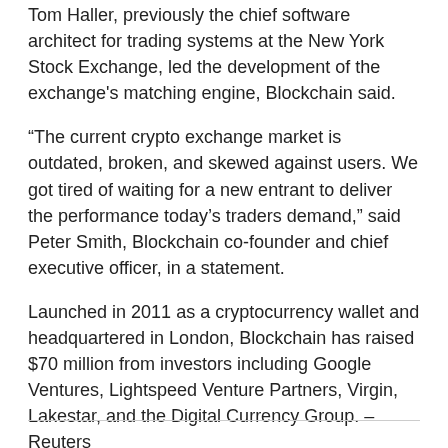Tom Haller, previously the chief software architect for trading systems at the New York Stock Exchange, led the development of the exchange's matching engine, Blockchain said.
“The current crypto exchange market is outdated, broken, and skewed against users. We got tired of waiting for a new entrant to deliver the performance today’s traders demand,” said Peter Smith, Blockchain co-founder and chief executive officer, in a statement.
Launched in 2011 as a cryptocurrency wallet and headquartered in London, Blockchain has raised $70 million from investors including Google Ventures, Lightspeed Venture Partners, Virgin, Lakestar, and the Digital Currency Group. – Reuters